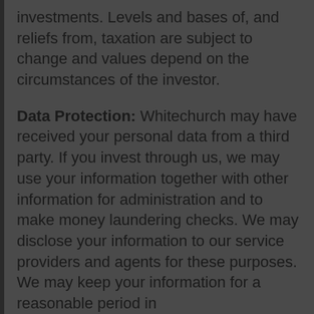investments. Levels and bases of, and reliefs from, taxation are subject to change and values depend on the circumstances of the investor.
Data Protection: Whitechurch may have received your personal data from a third party. If you invest through us, we may use your information together with other information for administration and to make money laundering checks. We may disclose your information to our service providers and agents for these purposes. We may keep your information for a reasonable period in